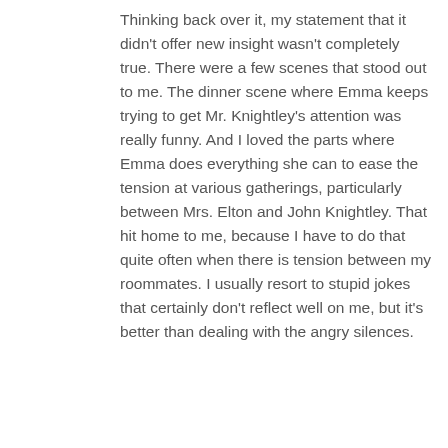Thinking back over it, my statement that it didn't offer new insight wasn't completely true. There were a few scenes that stood out to me. The dinner scene where Emma keeps trying to get Mr. Knightley's attention was really funny. And I loved the parts where Emma does everything she can to ease the tension at various gatherings, particularly between Mrs. Elton and John Knightley. That hit home to me, because I have to do that quite often when there is tension between my roommates. I usually resort to stupid jokes that certainly don't reflect well on me, but it's better than dealing with the angry silences.